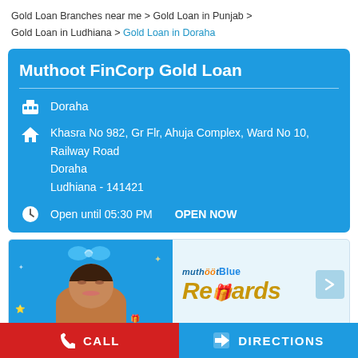Gold Loan Branches near me > Gold Loan in Punjab > Gold Loan in Ludhiana > Gold Loan in Doraha
Muthoot FinCorp Gold Loan
Doraha
Khasra No 982, Gr Flr, Ahuja Complex, Ward No 10, Railway Road
Doraha
Ludhiana - 141421
Open until 05:30 PM    OPEN NOW
[Figure (screenshot): Muthoot Blue Rewards promotional banner showing a smiling woman on a blue background with gift/celebration graphics on the left, and the muthootBlue Rewards logo and text in gold on a light blue background on the right.]
CALL
DIRECTIONS